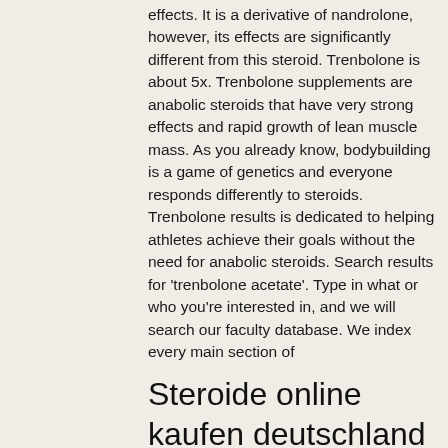effects. It is a derivative of nandrolone, however, its effects are significantly different from this steroid. Trenbolone is about 5x. Trenbolone supplements are anabolic steroids that have very strong effects and rapid growth of lean muscle mass. As you already know, bodybuilding is a game of genetics and everyone responds differently to steroids. Trenbolone results is dedicated to helping athletes achieve their goals without the need for anabolic steroids. Search results for 'trenbolone acetate'. Type in what or who you're interested in, and we will search our faculty database. We index every main section of
Steroide online kaufen deutschland vad gör anabola steroider med